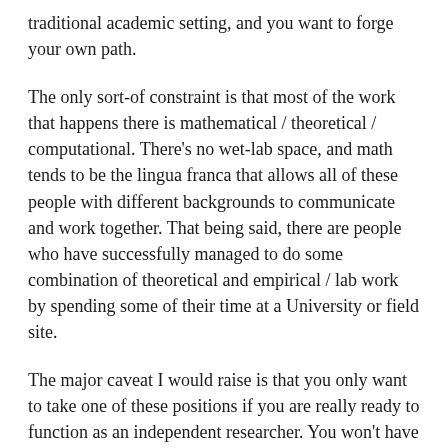traditional academic setting, and you want to forge your own path.
The only sort-of constraint is that most of the work that happens there is mathematical / theoretical / computational. There's no wet-lab space, and math tends to be the lingua franca that allows all of these people with different backgrounds to communicate and work together. That being said, there are people who have successfully managed to do some combination of theoretical and empirical / lab work by spending some of their time at a University or field site.
The major caveat I would raise is that you only want to take one of these positions if you are really ready to function as an independent researcher. You won't have a traditional advisor, and no one will be looking over your shoulder — although you will have excellent and supportive colleagues and peers.
Here's a snippet from Galway Kinnel's The Book of Nightmares,